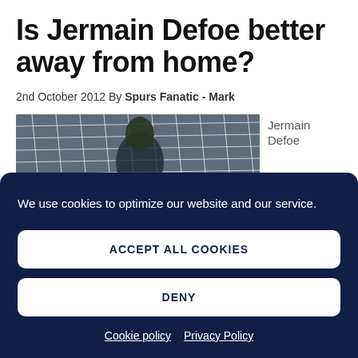Is Jermain Defoe better away from home?
2nd October 2012 By Spurs Fanatic - Mark
[Figure (photo): Photo of Jermain Defoe partially obscured by a football goal net]
Jermain Defoe
We use cookies to optimize our website and our service.
ACCEPT ALL COOKIES
DENY
Cookie policy  Privacy Policy